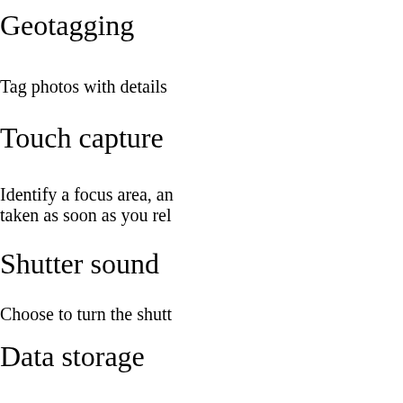Geotagging
Tag photos with details
Touch capture
Identify a focus area, an taken as soon as you rel
Shutter sound
Choose to turn the shutt
Data storage
You can choose to save internal storage.
Internal storage